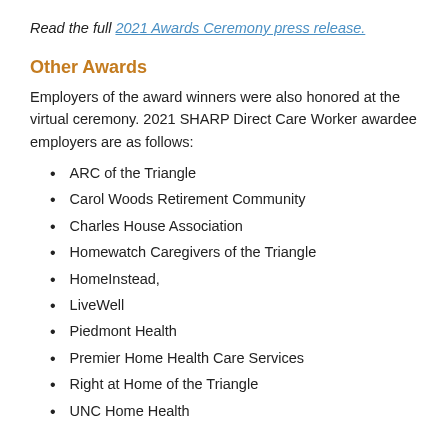Read the full 2021 Awards Ceremony press release.
Other Awards
Employers of the award winners were also honored at the virtual ceremony. 2021 SHARP Direct Care Worker awardee employers are as follows:
ARC of the Triangle
Carol Woods Retirement Community
Charles House Association
Homewatch Caregivers of the Triangle
HomeInstead,
LiveWell
Piedmont Health
Premier Home Health Care Services
Right at Home of the Triangle
UNC Home Health